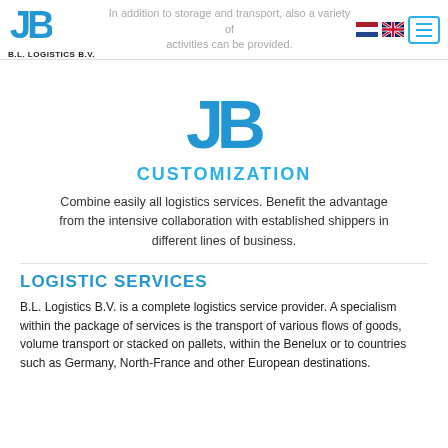LOGISTICS
[Figure (logo): B.L. Logistics B.V. logo with stylized JB monogram in blue and company name below]
In addition to storage and transport, also a variety of activities can be provided.
[Figure (logo): Large B.L. Logistics B.V. stylized JB monogram logo in blue, centered]
CUSTOMIZATION
Combine easily all logistics services. Benefit the advantage from the intensive collaboration with established shippers in different lines of business.
LOGISTIC SERVICES
B.L. Logistics B.V. is a complete logistics service provider. A specialism within the package of services is the transport of various flows of goods, volume transport or stacked on pallets, within the Benelux or to countries such as Germany, North-France and other European destinations.